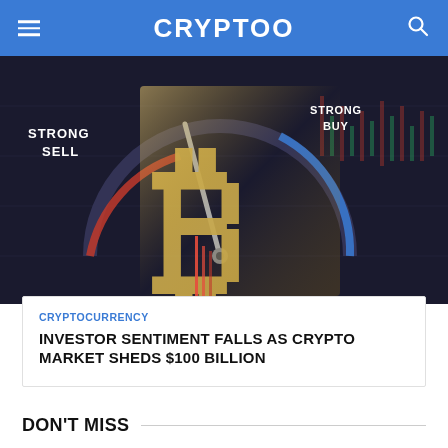CRYPTOO
[Figure (photo): A gold Bitcoin symbol with a gauge/dial showing 'STRONG SELL' on the left and 'STRONG BUY' on the right, with red lines indicating market indicator, set against a dark background with candlestick chart patterns.]
CRYPTOCURRENCY
INVESTOR SENTIMENT FALLS AS CRYPTO MARKET SHEDS $100 BILLION
DON'T MISS